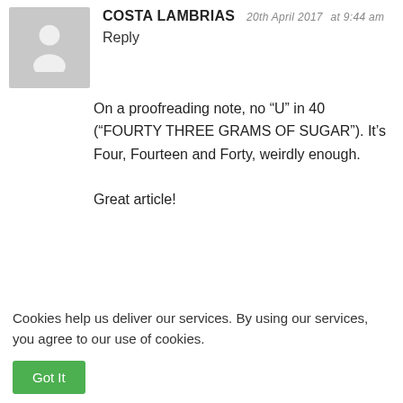COSTA LAMBRIAS  20th April 2017  at 9:44 am
Reply
On a proofreading note, no “U” in 40 (“FOURTY THREE GRAMS OF SUGAR”). It’s Four, Fourteen and Forty, weirdly enough.

Great article!
ross  21st April 2017  at 5:09 am  Reply
Cookies help us deliver our services. By using our services, you agree to our use of cookies.
Got It